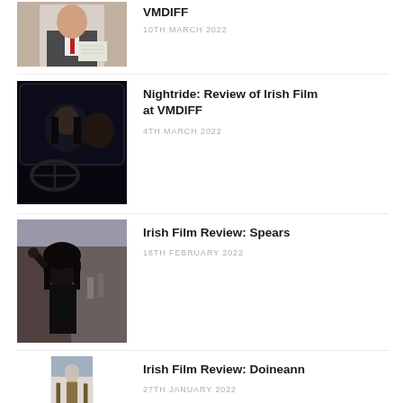[Figure (photo): Partial view of a man in a suit with a red tie holding a document]
VMDIFF
10TH MARCH 2022
[Figure (photo): Person seen through a car window at night]
Nightride: Review of Irish Film at VMDIFF
4TH MARCH 2022
[Figure (photo): Woman with dark hair outdoors on a street]
Irish Film Review: Spears
18TH FEBRUARY 2022
[Figure (photo): Older woman with grey hair outdoors near a beach]
Irish Film Review: Doineann
27TH JANUARY 2022
[Figure (photo): Partial thumbnail image]
Nora: Review of Irish Film at Cork